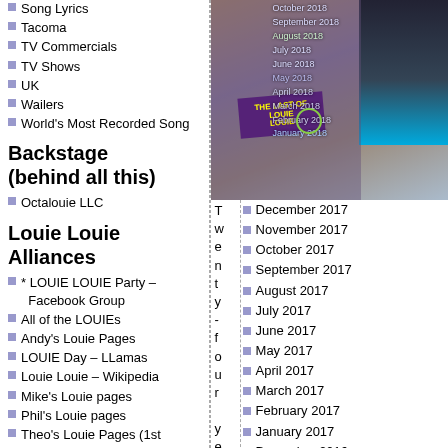Song Lyrics
Tacoma
TV Commercials
TV Shows
UK
Wailers
World's Most Recorded Song
Backstage (behind all this)
Octalouie LLC
Louie Louie Alliances
* LOUIE LOUIE Party – Facebook Group
All of the LOUIEs
Andy's Louie Pages
LOUIE Day – LLamas
Louie Louie – Wikipedia
Mike's Louie pages
Phil's Louie pages
Theo's Louie Pages (1st LOUIE website – preserved)
[Figure (photo): Photo collage with Louie Louie sign and archive month links overlaid, including months from January 2018 through October 2018]
Twenty-four years ago, there
December 2017
November 2017
October 2017
September 2017
August 2017
July 2017
June 2017
May 2017
April 2017
March 2017
February 2017
January 2017
December 2016
November 2016
October 2016
September 2016